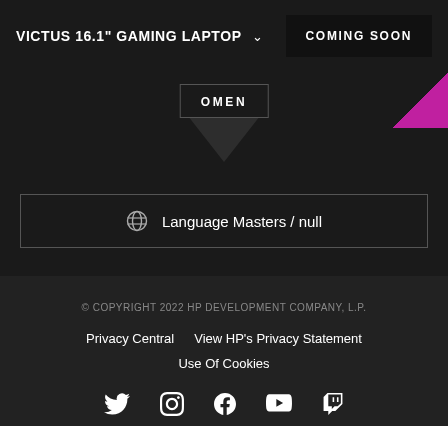VICTUS 16.1" GAMING LAPTOP  COMING SOON
[Figure (logo): OMEN logo badge with downward pointing diamond/chevron shape and pink corner accent]
Language Masters / null
© COPYRIGHT 2022 HP DEVELOPMENT COMPANY, L.P.
Privacy Central  View HP's Privacy Statement
Use Of Cookies
[Figure (infographic): Social media icons row: Twitter, Instagram, Facebook, YouTube, Twitch]